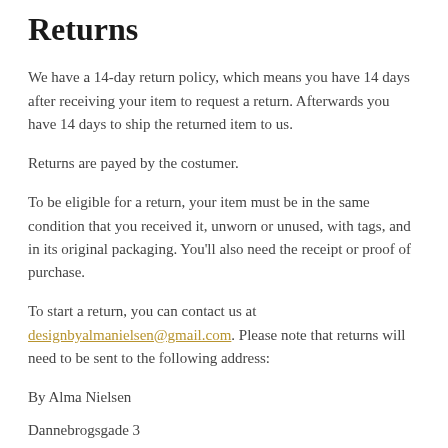Returns
We have a 14-day return policy, which means you have 14 days after receiving your item to request a return. Afterwards you have 14 days to ship the returned item to us.
Returns are payed by the costumer.
To be eligible for a return, your item must be in the same condition that you received it, unworn or unused, with tags, and in its original packaging. You’ll also need the receipt or proof of purchase.
To start a return, you can contact us at designbyalmanielsen@gmail.com. Please note that returns will need to be sent to the following address:
By Alma Nielsen
Dannebrogsgade 3